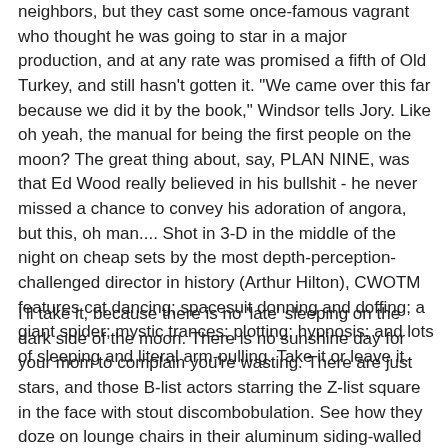neighbors, but they cast some once-famous vagrant who thought he was going to star in a major production, and at any rate was promised a fifth of Old Turkey, and still hasn't gotten it. "We came over this far because we did it by the book," Windsor tells Jory. Like oh yeah, the manual for being the first people on the moon? The great thing about, say, PLAN NINE, was that Ed Wood really believed in his bullshit - he never missed a chance to convey his adoration of angora, but this, oh man.... Shot in 3-D in the middle of the night on cheap sets by the most depth-perception-challenged director in history (Arthur Hilton), CWOTM features cat dancing; spacesuit donning and doffing; a giant spider; mystic trances; plotting; hypnosis; and lots of sleeping and literal arm-pulling. Take it or leave it.
I'll take it, because there is no 'late' sleeping on the dark side of the moon. There is no sunshine day for your mom to complain you're wasting. There are just stars, and those B-list actors starring the Z-list square in the face with stout discombobulation. See how they doze on lounge chairs in their aluminum siding-walled space ship! See how they doze amidst the columns and splendor of the secret cat lair! Shhhh! They waken and overhear a conversation. Shhhh...